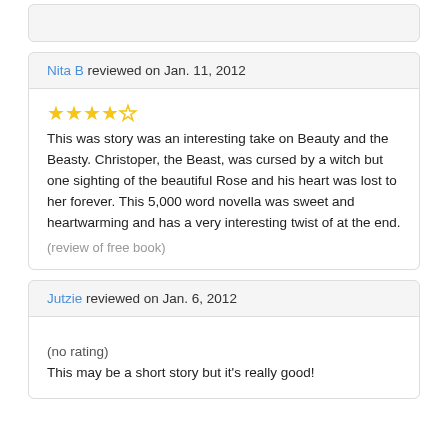(review stub — top card partial)
Nita B reviewed on Jan. 11, 2012
★★★★☆
This was story was an interesting take on Beauty and the Beasty. Christoper, the Beast, was cursed by a witch but one sighting of the beautiful Rose and his heart was lost to her forever. This 5,000 word novella was sweet and heartwarming and has a very interesting twist of at the end.
(review of free book)
Jutzie reviewed on Jan. 6, 2012
(no rating)
This may be a short story but it's really good!